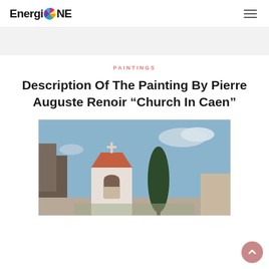EnergioNE
PAINTINGS
Description Of The Painting By Pierre Auguste Renoir “Church In Caen”
[Figure (photo): Painting by Pierre Auguste Renoir depicting a church in Caen — a white bell tower with a cross on top, a tall dark cypress tree, blue sky with clouds, and surrounding stone buildings.]